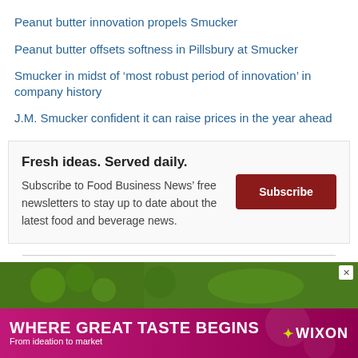Peanut butter innovation propels Smucker
Peanut butter offsets softness in Pillsbury at Smucker
Smucker in midst of 'most robust period of innovation' in company history
J.M. Smucker confident it can raise prices in the year ahead
Fresh ideas. Served daily. Subscribe to Food Business News' free newsletters to stay up to date about the latest food and beverage news.
[Figure (screenshot): Advertisement banner showing food ingredients on green background with an X close button]
[Figure (screenshot): Wixon advertisement banner: WHERE GREAT TASTE BEGINS / From ideation to market / WIXON logo]